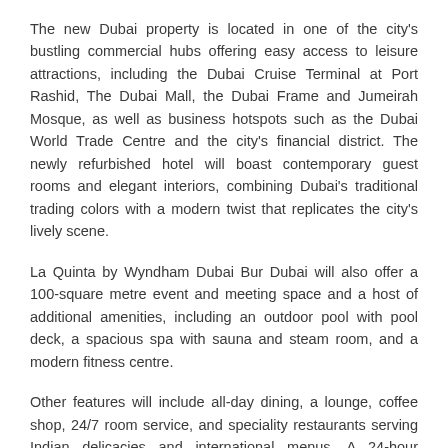The new Dubai property is located in one of the city's bustling commercial hubs offering easy access to leisure attractions, including the Dubai Cruise Terminal at Port Rashid, The Dubai Mall, the Dubai Frame and Jumeirah Mosque, as well as business hotspots such as the Dubai World Trade Centre and the city's financial district. The newly refurbished hotel will boast contemporary guest rooms and elegant interiors, combining Dubai's traditional trading colors with a modern twist that replicates the city's lively scene.
La Quinta by Wyndham Dubai Bur Dubai will also offer a 100-square metre event and meeting space and a host of additional amenities, including an outdoor pool with pool deck, a spacious spa with sauna and steam room, and a modern fitness centre.
Other features will include all-day dining, a lounge, coffee shop, 24/7 room service, and speciality restaurants serving Indian delicacies and international menus. A 24-hour business centre, children's play area and pool, dedicated retail space, ample parking,